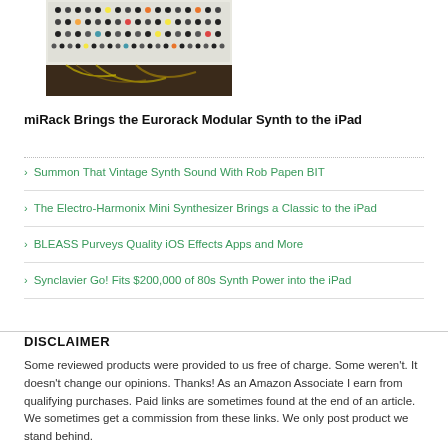[Figure (photo): Overhead photo of a Eurorack modular synthesizer with many knobs, buttons, and patch cables]
miRack Brings the Eurorack Modular Synth to the iPad
Summon That Vintage Synth Sound With Rob Papen BIT
The Electro-Harmonix Mini Synthesizer Brings a Classic to the iPad
BLEASS Purveys Quality iOS Effects Apps and More
Synclavier Go! Fits $200,000 of 80s Synth Power into the iPad
DISCLAIMER
Some reviewed products were provided to us free of charge. Some weren't. It doesn't change our opinions. Thanks! As an Amazon Associate I earn from qualifying purchases. Paid links are sometimes found at the end of an article. We sometimes get a commission from these links. We only post product we stand behind.